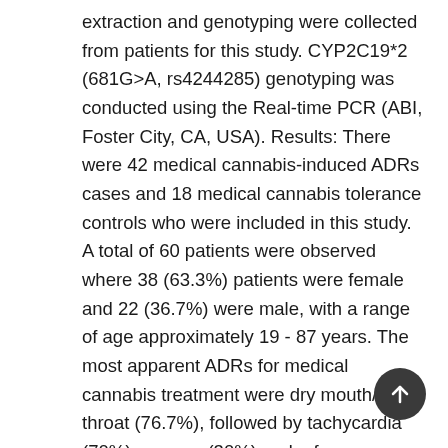extraction and genotyping were collected from patients for this study. CYP2C19*2 (681G>A, rs4244285) genotyping was conducted using the Real-time PCR (ABI, Foster City, CA, USA). Results: There were 42 medical cannabis-induced ADRs cases and 18 medical cannabis tolerance controls who were included in this study. A total of 60 patients were observed where 38 (63.3%) patients were female and 22 (36.7%) were male, with a range of age approximately 19 - 87 years. The most apparent ADRs for medical cannabis treatment were dry mouth/dry throat (76.7%), followed by tachycardia (70%), nausea (30%) and a few arrhythmias (10%). In the total of 27 cases, we found a frequency of 18 CYP2C19*1/*1 alleles (normal metabolizers, 66.7%), 8 CYP2C19*1/*2 alleles (intermediate metabolizers, 29.6%) and 1 CYP2C19*2/*2 alleles (poor metabolizers, 3.7%). Meanwhile, 63.6% of CYP2C19*1/*1, 36.3% and 0% of